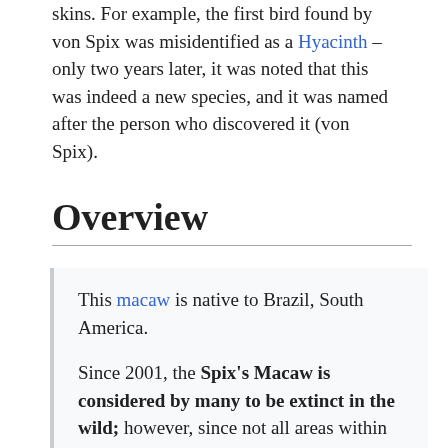skins. For example, the first bird found by von Spix was misidentified as a Hyacinth – only two years later, it was noted that this was indeed a new species, and it was named after the person who discovered it (von Spix).
Overview
This macaw is native to Brazil, South America.

Since 2001, the Spix's Macaw is considered by many to be extinct in the wild; however, since not all areas within its native range have been thoroughly surveyed, it is possible that small surviving populations can be found;